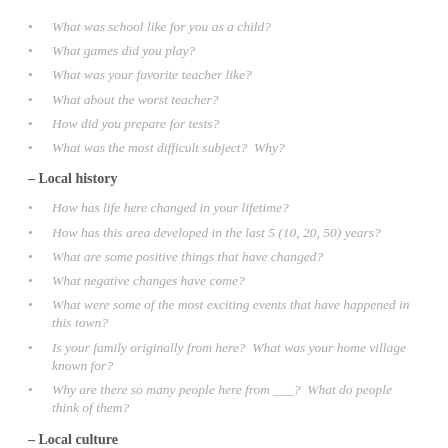What was school like for you as a child?
What games did you play?
What was your favorite teacher like?
What about the worst teacher?
How did you prepare for tests?
What was the most difficult subject?  Why?
– Local history
How has life here changed in your lifetime?
How has this area developed in the last 5 (10, 20, 50) years?
What are some positive things that have changed?
What negative changes have come?
What were some of the most exciting events that have happened in this town?
Is your family originally from here?  What was your home village known for?
Why are there so many people here from ___?  What do people think of them?
– Local culture